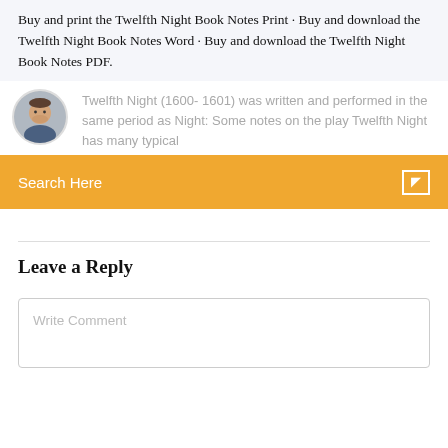Buy and print the Twelfth Night Book Notes Print · Buy and download the Twelfth Night Book Notes Word · Buy and download the Twelfth Night Book Notes PDF.
Twelfth Night (1600- 1601) was written and performed in the same period as Night: Some notes on the play Twelfth Night has many typical
[Figure (photo): Avatar photo of a man with short hair and beard, circular crop]
Search Here
Leave a Reply
Write Comment